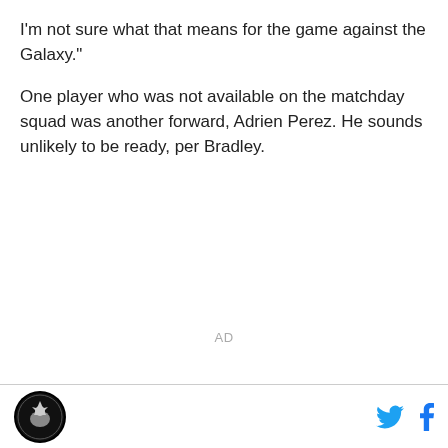I'm not sure what that means for the game against the Galaxy."
One player who was not available on the matchday squad was another forward, Adrien Perez. He sounds unlikely to be ready, per Bradley.
AD
[logo] [twitter icon] [facebook icon]